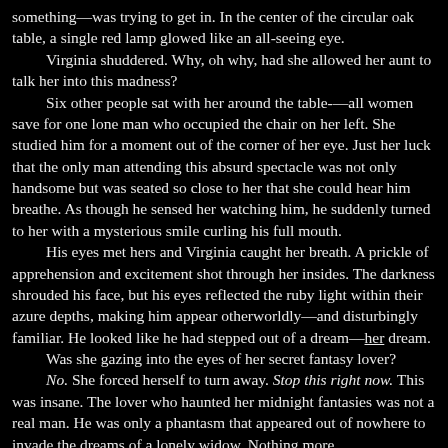something—was trying to get in. In the center of the circular oak table, a single red lamp glowed like an all-seeing eye.
	Virginia shuddered. Why, oh why, had she allowed her aunt to talk her into this madness?
	Six other people sat with her around the table-—all women save for one lone man who occupied the chair on her left. She studied him for a moment out of the corner of her eye. Just her luck that the only man attending this absurd spectacle was not only handsome but was seated so close to her that she could hear him breathe. As though he sensed her watching him, he suddenly turned to her with a mysterious smile curling his full mouth.
	His eyes met hers and Virginia caught her breath. A prickle of apprehension and excitement shot through her insides. The darkness shrouded his face, but his eyes reflected the ruby light within their azure depths, making him appear otherworldly—and disturbingly familiar. He looked like he had stepped out of a dream—her dream.
	Was she gazing into the eyes of her secret fantasy lover?
	No. She forced herself to turn away. Stop this right now. This was insane. The lover who haunted her midnight fantasies was not a real man. He was only a phantasm that appeared out of nowhere to invade the dreams of a lonely widow. Nothing more.
	This man sitting next to her at the séance table was not her fantasy lover, she told herself firmly. She didn't even know him.